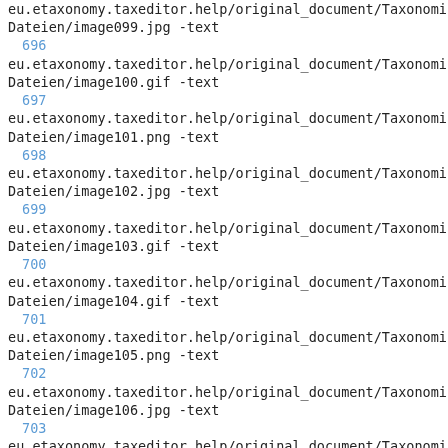eu.etaxonomy.taxeditor.help/original_document/Taxonomic_Dateien/image099.jpg -text
696
eu.etaxonomy.taxeditor.help/original_document/Taxonomic_Dateien/image100.gif -text
697
eu.etaxonomy.taxeditor.help/original_document/Taxonomic_Dateien/image101.png -text
698
eu.etaxonomy.taxeditor.help/original_document/Taxonomic_Dateien/image102.jpg -text
699
eu.etaxonomy.taxeditor.help/original_document/Taxonomic_Dateien/image103.gif -text
700
eu.etaxonomy.taxeditor.help/original_document/Taxonomic_Dateien/image104.gif -text
701
eu.etaxonomy.taxeditor.help/original_document/Taxonomic_Dateien/image105.png -text
702
eu.etaxonomy.taxeditor.help/original_document/Taxonomic_Dateien/image106.jpg -text
703
eu.etaxonomy.taxeditor.help/original_document/Taxonomic_